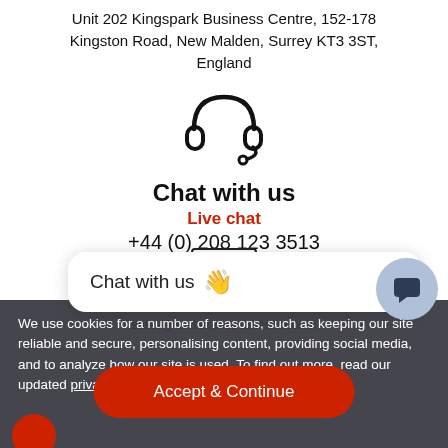Unit 202 Kingspark Business Centre, 152-178 Kingston Road, New Malden, Surrey KT3 3ST, England
[Figure (illustration): Headset/customer support icon in black outline]
Chat with us
Live chat
+44 (0) 208 123 3513
[Figure (screenshot): Chat with us popup bubble with wave emoji and dark chat circle button]
Email us
sales@surtex-instruments.co.uk
We use cookies for a number of reasons, such as keeping our site reliable and secure, personalising content, providing social media, and to analyze how our site is used. To find out more, read our updated privacy policy and cookie policy.
Accept & Continue